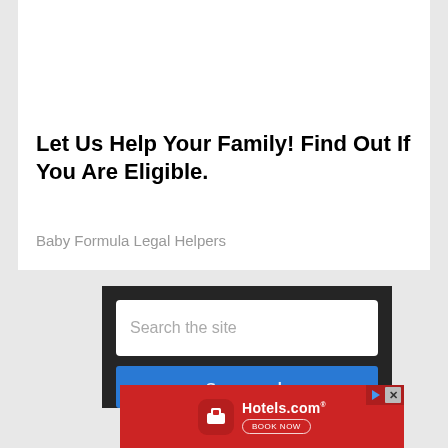Let Us Help Your Family! Find Out If You Are Eligible.
Baby Formula Legal Helpers
[Figure (screenshot): Search widget with dark background, a white search input field with placeholder 'Search the site', and a blue search button below]
[Figure (screenshot): Hotels.com advertisement with red background, Hotels.com logo icon, Hotels.com text, and a 'BOOK NOW' button. Ad controls (play/skip and close X) visible in top right corner.]